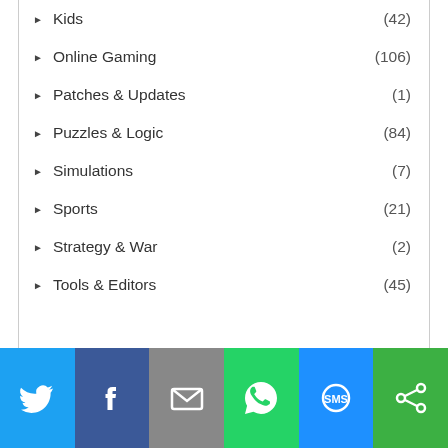Kids (42)
Online Gaming (106)
Patches & Updates (1)
Puzzles & Logic (84)
Simulations (7)
Sports (21)
Strategy & War (2)
Tools & Editors (45)
Home & Education (8,649)
[Figure (infographic): Social share bar with Twitter, Facebook, Email, WhatsApp, SMS, and share icons]